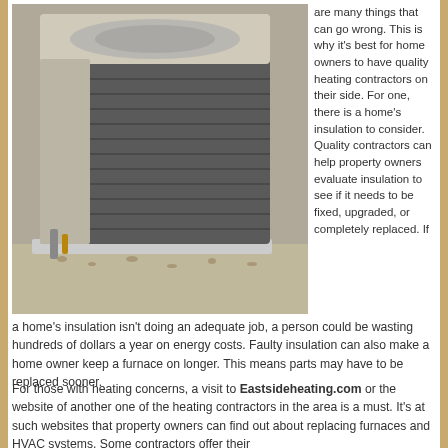[Figure (photo): Outdoor HVAC/air conditioning unit, beige and dark gray, installed on gravel outside a building.]
are many things that can go wrong. This is why it's best for home owners to have quality heating contractors on their side. For one, there is a home's insulation to consider. Quality contractors can help property owners evaluate insulation to see if it needs to be fixed, upgraded, or completely replaced. If a home's insulation isn't doing an adequate job, a person could be wasting hundreds of dollars a year on energy costs. Faulty insulation can also make a home owner keep a furnace on longer. This means parts may have to be replaced sooner.
For those with heating concerns, a visit to Eastsideheating.com or the website of another one of the heating contractors in the area is a must. It's at such websites that property owners can find out about replacing furnaces and HVAC systems. Some contractors offer their